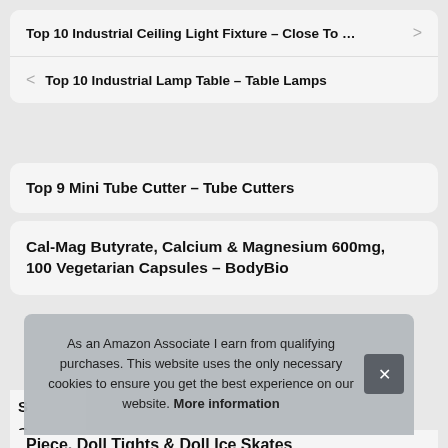Top 10 Industrial Ceiling Light Fixture – Close To …
Top 10 Industrial Lamp Table – Table Lamps
Top 9 Mini Tube Cutter – Tube Cutters
Cal-Mag Butyrate, Calcium & Magnesium 600mg, 100 Vegetarian Capsules – BodyBio
As an Amazon Associate I earn from qualifying purchases. This website uses the only necessary cookies to ensure you get the best experience on our website. More information
Piece, Doll Tights & Doll Ice Skates